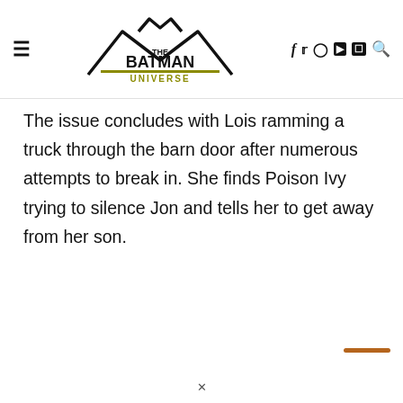The Batman Universe
The issue concludes with Lois ramming a truck through the barn door after numerous attempts to break in. She finds Poison Ivy trying to silence Jon and tells her to get away from her son.